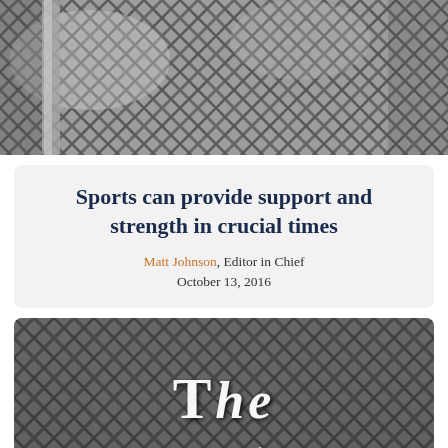[Figure (photo): Black and white close-up photo of a chain-link fence with metal poles visible]
Sports can provide support and strength in crucial times
Matt Johnson, Editor in Chief
October 13, 2016
[Figure (photo): Black and white photo of a chain-link fence with blurred urban background, overlaid with large white text reading 'THE CHEAP $EATS']